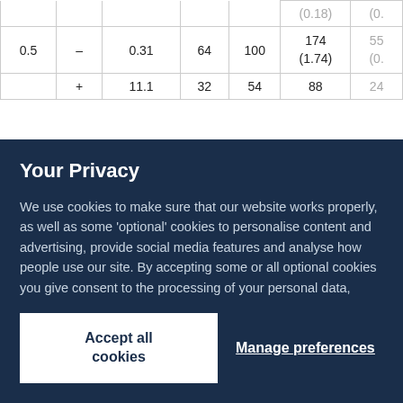|  |  | (0.18) | (0. |
| 0.5 | – | 0.31 | 64 | 100 | 174 (1.74) | 55 (0. |
|  | + | 11.1 | 32 | 54 | 88 | 24 |
Your Privacy
We use cookies to make sure that our website works properly, as well as some 'optional' cookies to personalise content and advertising, provide social media features and analyse how people use our site. By accepting some or all optional cookies you give consent to the processing of your personal data, including transfer to third parties, some in countries outside of the European Economic Area that do not offer the same data protection standards as the country where you live. You can decide which optional cookies to accept by clicking on 'Manage Settings', where you can also find more information about how your personal data is processed. Further information can be found in our privacy policy.
Accept all cookies
Manage preferences